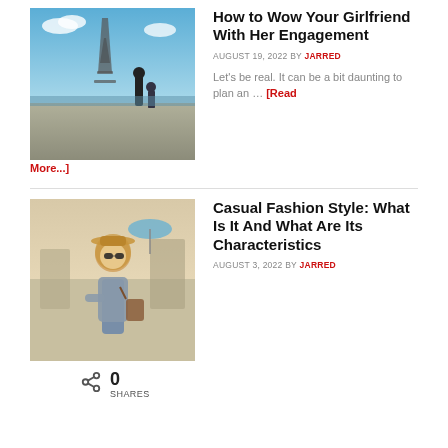[Figure (photo): A couple in Paris near the Eiffel Tower; man kneeling proposing to woman in black dress]
How to Wow Your Girlfriend With Her Engagement
AUGUST 19, 2022 BY JARRED
Let's be real. It can be a bit daunting to plan an … [Read More...]
[Figure (photo): A stylish woman in casual fashion wearing sunglasses and a hat, carrying a handbag outdoors]
Casual Fashion Style: What Is It And What Are Its Characteristics
AUGUST 3, 2022 BY JARRED
0 SHARES